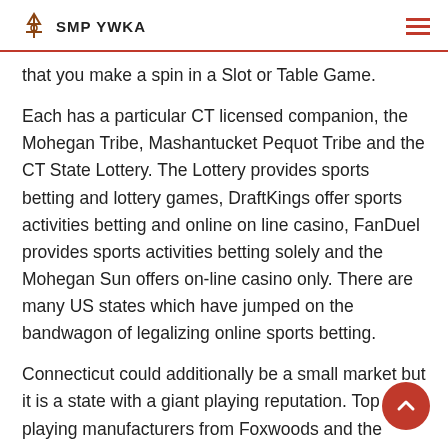SMP YWKA
that you make a spin in a Slot or Table Game.
Each has a particular CT licensed companion, the Mohegan Tribe, Mashantucket Pequot Tribe and the CT State Lottery. The Lottery provides sports betting and lottery games, DraftKings offer sports activities betting and online on line casino, FanDuel provides sports activities betting solely and the Mohegan Sun offers on-line casino only. There are many US states which have jumped on the bandwagon of legalizing online sports betting.
Connecticut could additionally be a small market but it is a state with a giant playing reputation. Top playing manufacturers from Foxwoods and the Mohegan Sun at the second are partnered with the two high online playing operators within the US, DraftKings and Mohegan Sun. They